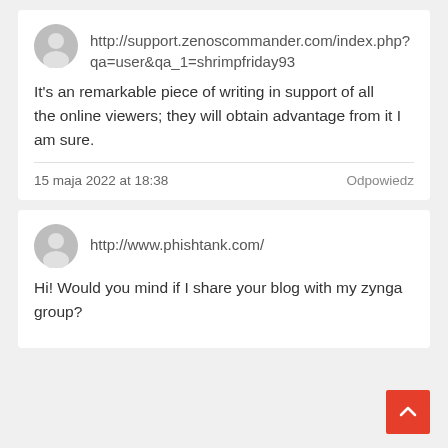http://support.zenoscommander.com/index.php?qa=user&qa_1=shrimpfriday93
It’s an remarkable piece of writing in support of all the online viewers; they will obtain advantage from it I am sure.
15 maja 2022 at 18:38
Odpowiedz
http://www.phishtank.com/
Hi! Would you mind if I share your blog with my zynga group?